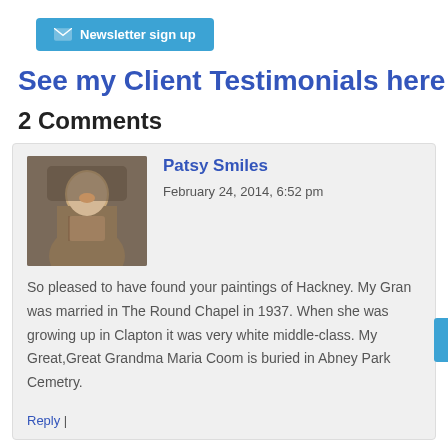[Figure (other): Newsletter sign up button with envelope icon, blue background]
See my Client Testimonials here
2 Comments
Patsy Smiles
February 24, 2014, 6:52 pm
So pleased to have found your paintings of Hackney. My Gran was married in The Round Chapel in 1937. When she was growing up in Clapton it was very white middle-class. My Great,Great Grandma Maria Coom is buried in Abney Park Cemetry.
Reply |